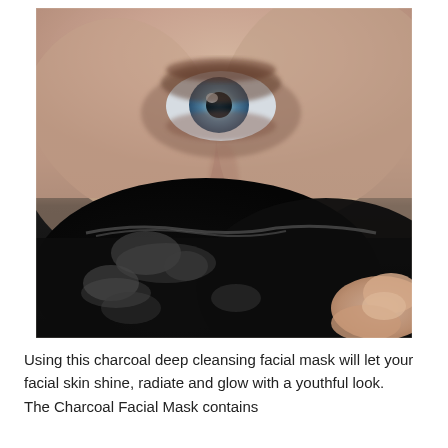[Figure (photo): Close-up photo of a person's face with a black charcoal facial mask covering the nose and mouth area, being peeled off with a finger. The person has blue eyes visible in the upper portion of the image.]
Using this charcoal deep cleansing facial mask will let your facial skin shine, radiate and glow with a youthful look. The Charcoal Facial Mask contains...